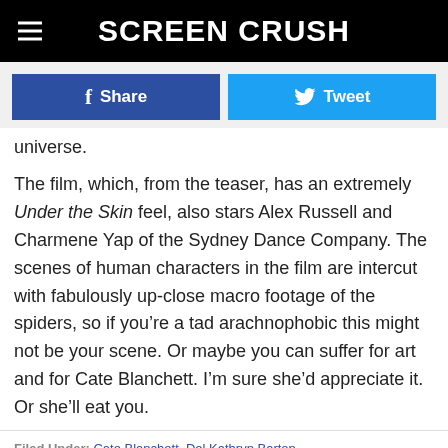Screen Crush
Share   Tweet
universe.
The film, which, from the teaser, has an extremely Under the Skin feel, also stars Alex Russell and Charmene Yap of the Sydney Dance Company. The scenes of human characters in the film are intercut with fabulously up-close macro footage of the spiders, so if you’re a tad arachnophobic this might not be your scene. Or maybe you can suffer for art and for Cate Blanchett. I’m sure she’d appreciate it. Or she’ll eat you.
Filed Under: Cate Blanchett, Del Kathryn Barton
Categories: Movie News, Trailers